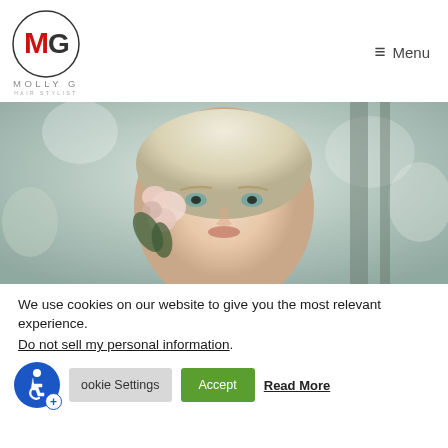[Figure (logo): Molly G Hair Stylist logo: circular design with M and G letters, red and black on white background, with text MOLLY G HAIR STYLIST below]
≡ Menu
[Figure (photo): Close-up portrait of a blonde woman with a pink flower in her hair, soft bokeh background with trees]
We use cookies on our website to give you the most relevant experience.
Do not sell my personal information.
Cookie Settings   Accept   Read More